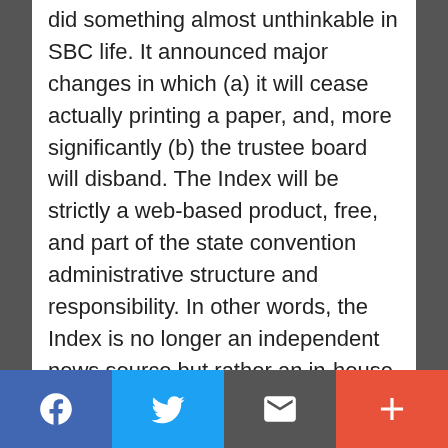did something almost unthinkable in SBC life. It announced major changes in which (a) it will cease actually printing a paper, and, more significantly (b) the trustee board will disband. The Index will be strictly a web-based product, free, and part of the state convention administrative structure and responsibility. In other words, the Index is no longer an independent news source but rather an in-house organ of the Georgia Baptist Convention. Printing and mailing the Index was a $320,000 expense. Poof, it's gone.
[Figure (other): Social sharing bar with four buttons: Facebook (blue), Twitter (light blue), Email/envelope (dark gray), and More/plus (orange-red)]